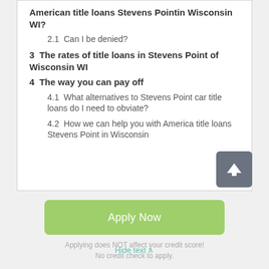American title loans Stevens Pointin Wisconsin WI?
2.1  Can I be denied?
3  The rates of title loans in Stevens Point of Wisconsin WI
4  The way you can pay off
4.1  What alternatives to Stevens Point car title loans do I need to obviate?
4.2  How we can help you with America title loans Stevens Point in Wisconsin
Apply Now
Applying does NOT affect your credit score! No credit check to apply.